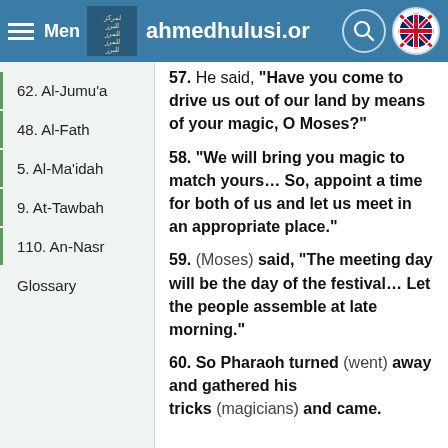Menu | ahmedhulusi.org
62. Al-Jumu'a
48. Al-Fath
5. Al-Ma'idah
9. At-Tawbah
110. An-Nasr
Glossary
57. He said, "Have you come to drive us out of our land by means of your magic, O Moses?"
58. "We will bring you magic to match yours... So, appoint a time for both of us and let us meet in an appropriate place."
59. (Moses) said, "The meeting day will be the day of the festival... Let the people assemble at late morning."
60. So Pharaoh turned (went) away and gathered his tricks (magicians) and came.